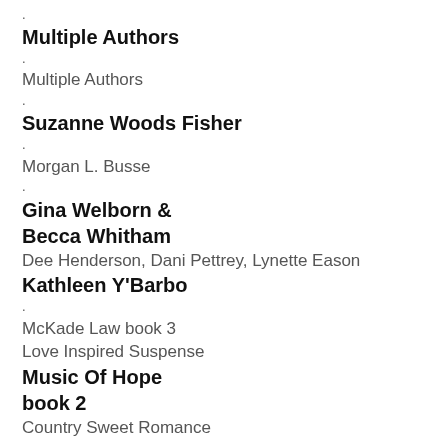.
Multiple Authors
.
Multiple Authors
.
Suzanne Woods Fisher
.
Morgan L. Busse
.
Gina Welborn & Becca Whitham
Dee Henderson, Dani Pettrey, Lynette Eason
Kathleen Y'Barbo
.
McKade Law book 3
Love Inspired Suspense
Music Of Hope book 2
Country Sweet Romance